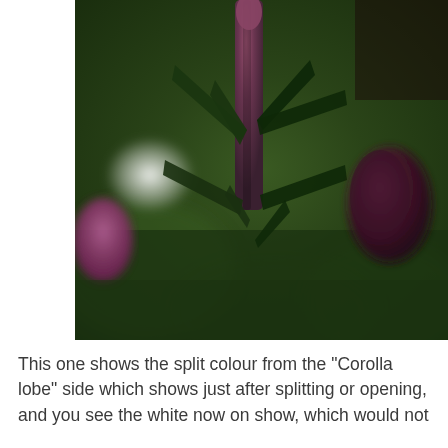[Figure (photo): Close-up macro photograph of plant buds with narrow pointed leaves. A tall central reddish-purple bud rises in the center, dark green pointed leaves radiate outward, a dark maroon bud is visible on the right, and a pink bud peeks in from the lower left. A white blurred element is visible in the background.]
This one shows the split colour from the "Corolla lobe" side which shows just after splitting or opening, and you see the white now on show, which would not